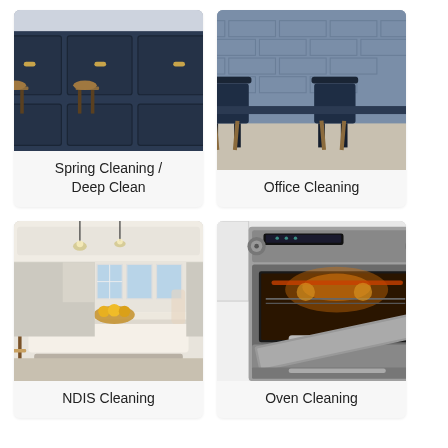[Figure (photo): Photo of a modern kitchen with dark navy cabinets and wooden bar stools]
Spring Cleaning / Deep Clean
[Figure (photo): Photo of an office space with dark chairs and a brick-patterned wall]
Office Cleaning
[Figure (photo): Photo of a bright modern kitchen with a large island, pendant lights, and a bowl of fruit]
NDIS Cleaning
[Figure (photo): Photo of a stainless steel oven with the door open showing items inside]
Oven Cleaning